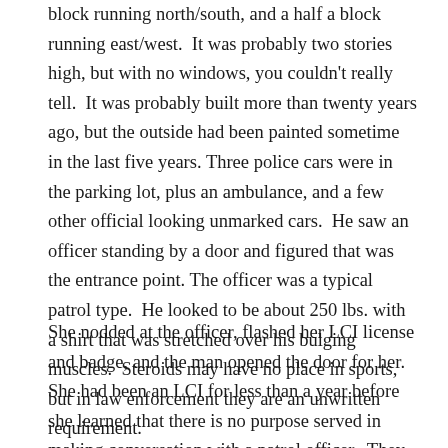block running north/south, and a half a block running east/west.  It was probably two stories high, but with no windows, you couldn't really tell.  It was probably built more than twenty years ago, but the outside had been painted sometime in the last five years. Three police cars were in the parking lot, plus an ambulance, and a few other official looking unmarked cars.  He saw an officer standing by a door and figured that was the entrance point. The officer was a typical patrol type.  He looked to be about 250 lbs. with a shirt that was stretched over his bulging muscles.  Steroids may have no place in sports, but in law enforcement they are an unwritten requirement.
She nodded at the officer, flashed her LCI license and badge, and the man opened the door for her.  She had been an LCI for less than a year before she learned that there is no purpose served in making conversation with a patrol officer.  They can't do